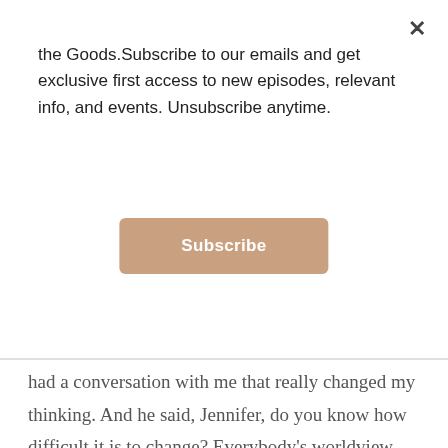the Goods.Subscribe to our emails and get exclusive first access to new episodes, relevant info, and events. Unsubscribe anytime.
Subscribe
had a conversation with me that really changed my thinking. And he said, Jennifer, do you know how difficult it is to change? Everybody's worldview, their buying habits. Do you know how difficult it is to convince everybody to care about these things that you care about? And in that conversation, he led me to think that it would be possible that instead of trying to make everybody think and feel the way that I did about things. That